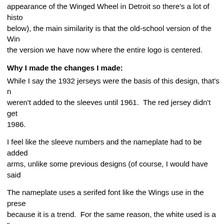appearance of the Winged Wheel in Detroit so there’s a lot of history (below), the main similarity is that the old-school version of the Win the version we have now where the entire logo is centered.
Why I made the changes I made:
While I say the 1932 jerseys were the basis of this design, that’s n weren’t added to the sleeves until 1961. The red jersey didn’t get 1986.
I feel like the sleeve numbers and the nameplate had to be added arms, unlike some previous designs (of course, I would have said
The nameplate uses a serifed font like the Wings use in the prese because it is a trend. For the same reason, the white used is a “v
The white stripe was moved off the hem because I don’t like how the current jerseys in a design that’s already pretty similar to what
Other design decisions:
As with my previous designs, I would expect this design to include something like this being done but in standard Detroit colors and/o
Additional reasons I think this could be worn: